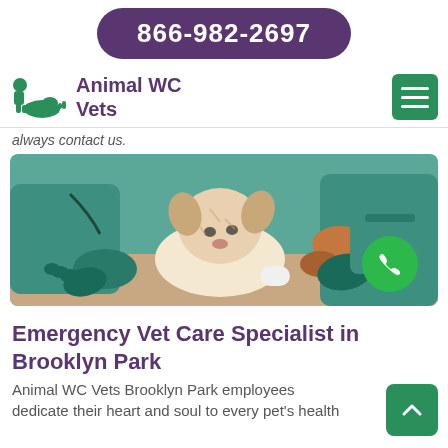866-982-2697
Animal WC Vets
always contact us.
[Figure (photo): Veterinarians in green scrubs and teal gloves examining a small white terrier dog on a table, with a green phone call button overlay in the bottom right]
Emergency Vet Care Specialist in Brooklyn Park
Animal WC Vets Brooklyn Park employees dedicate their heart and soul to every pet's health